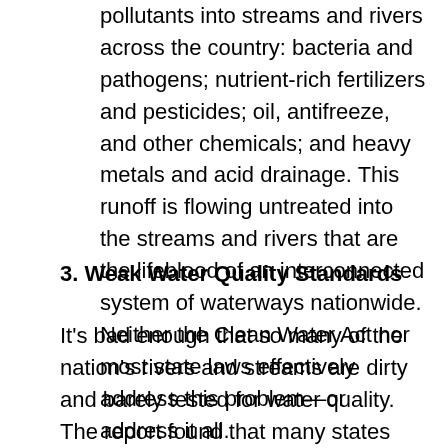pollutants into streams and rivers across the country: bacteria and pathogens; nutrient-rich fertilizers and pesticides; oil, antifreeze, and other chemicals; and heavy metals and acid drainage. This runoff is flowing untreated into the streams and rivers that are the lifeblood of an interconnected system of waterways nationwide. Neither the Clean Water Act nor most state laws effectively address this problem—or address it all.
3. Weak Water Quality Standards
It's bad enough that so many of the nation's rivers and streams are dirty and barely tested for water quality. The report found that many states have weak water quality standards, too. That means waterways that have been rated